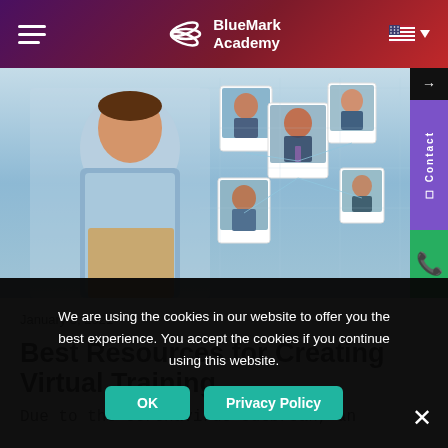BlueMark Academy
[Figure (photo): Person in virtual meeting with floating profile photos of remote colleagues connected by digital network lines, blue-toned background.]
January 8, 2021
Best Resources for Creating Virtual Training
Due to the coronavirus outbreak, an
We are using the cookies in our website to offer you the best experience. You accept the cookies if you continue using this website.